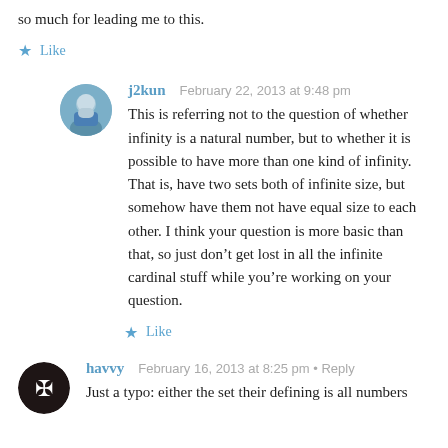so much for leading me to this.
★  Like
j2kun   February 22, 2013 at 9:48 pm
This is referring not to the question of whether infinity is a natural number, but to whether it is possible to have more than one kind of infinity. That is, have two sets both of infinite size, but somehow have them not have equal size to each other. I think your question is more basic than that, so just don't get lost in all the infinite cardinal stuff while you're working on your question.
★  Like
havvy   February 16, 2013 at 8:25 pm · Reply
Just a typo: either the set their defining is all numbers